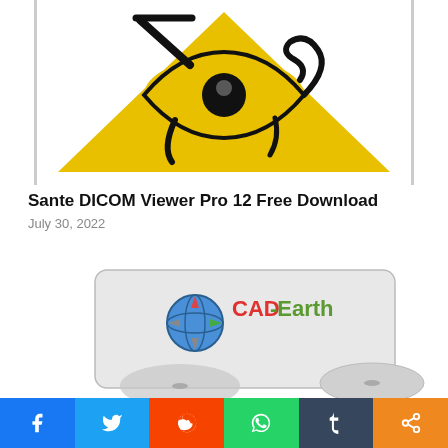[Figure (illustration): Eye of Horus / Ra logo on yellow pyramid triangle, black symbol on yellow background — Sante DICOM Viewer Pro logo]
Sante DICOM Viewer Pro 12 Free Download
July 30, 2022
[Figure (photo): CAD-Earth software box with logo showing a globe with compass rose directions, red and green text reading CAD-Earth, on a light grey product box with a CD]
[Figure (infographic): Social sharing bar with icons: Facebook (blue), Twitter (blue), Reddit (orange-red), WhatsApp (green), Tumblr (dark blue), Share (orange)]